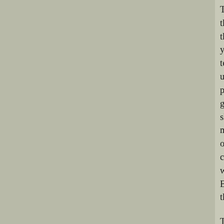The speculations of the specialists about the announcement that two more fiendish murders were committed within a stone's throw of one another, a little after midnight on Saturday and in the early hours of yesterday was intense. The crime showed that the miscreant who had so long kept up a reign of terror in the East end by his diabolical butcheries had not yet satiated his lust for the blood of the unfortunate class, and the atrocities were so awful as to lead many to think that the perpetrator of the recent murders was the same individual who supplied the most gruesome illustrations for a medical book in America. Others went so far as to show plainly that the murderer is some fiend in human shape who takes a mere delight at the crimes. It is inconceivable that anyone should act so openly and so audaciously as the perpetrator of these crimes. It is said to have been committed in the case of one of the unhappy women within earshot of a policeman, and whether that fact be established or not it will show that the theory of Burke or Hare. The places selected for the crimes render the theory entirely untenable.
The awful fact that the people of East London have had these atrocities committed in their midst in a circumscribed locality shows that the murderer is still at large. This fact places a terrible responsibility upon those who have watched the East End for the past three weeks for the perpetrator of these crimes. The latest horror shows that he was in the heart of the district, and that he seemed to delight in defying them. He murdered two women in one night, walked abroad with impunity, and perhaps some other atrocity will bring matters to an end. The circumstances of Saturday night make it almost certain that no signs of blood upon him. Nobody, however, appeared to have noticed him. The police do not appear to have any substantial clue, and such extraordinary murders as these occurred in any part of Ire